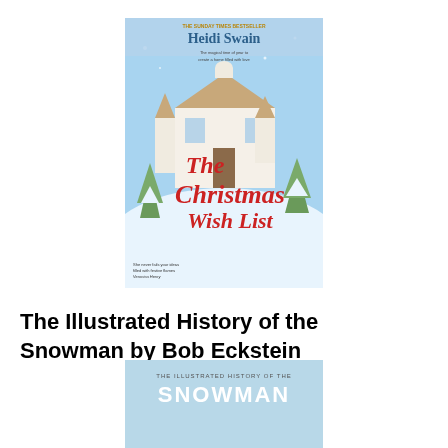[Figure (illustration): Book cover of 'The Christmas Wish List' by Heidi Swain - Sunday Times Bestseller. Blue and white winter illustrated scene with a large country house, snowy landscape, trees, and red script title text.]
The Illustrated History of the Snowman by Bob Eckstein
[Figure (illustration): Book cover of 'The Illustrated History of the Snowman' by Bob Eckstein - light blue background with large white snowman wearing a red scarf and hat, small town/cityscape in the background at bottom.]